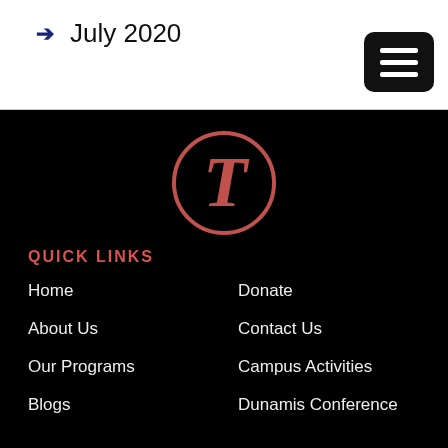→  July 2020
[Figure (logo): Circular logo with a decorative cursive letter T in salmon/coral color on a black background]
QUICK LINKS
Home
Donate
About Us
Contact Us
Our Programs
Campus Activities
Blogs
Dunamis Conference